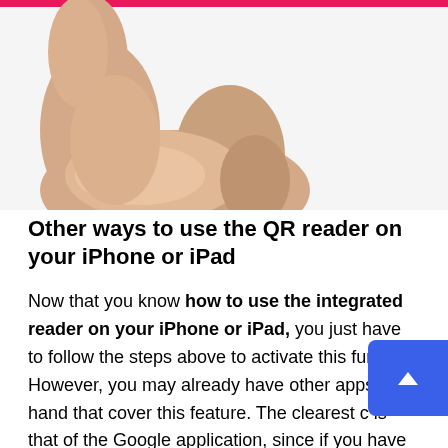[Figure (photo): Close-up photo of a human hand/palm, partially cropped, with a pink/magenta bar visible at the top edge]
Other ways to use the QR reader on your iPhone or iPad
Now that you know how to use the integrated reader on your iPhone or iPad, you just have to follow the steps above to activate this function. However, you may already have other apps on hand that cover this feature. The clearest c… is that of the Google application, since if you have an Apple device you can go to the competitor's